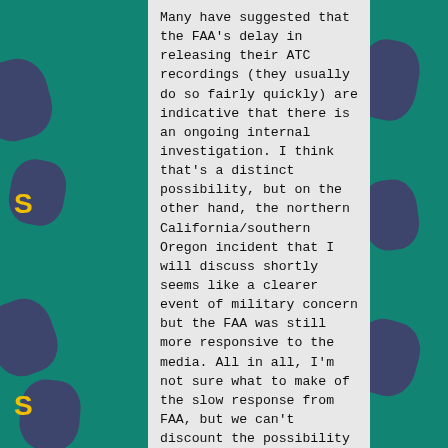Many have suggested that the FAA's delay in releasing their ATC recordings (they usually do so fairly quickly) are indicative that there is an ongoing internal investigation. I think that's a distinct possibility, but on the other hand, the northern California/southern Oregon incident that I will discuss shortly seems like a clearer event of military concern but the FAA was still more responsive to the media. All in all, I'm not sure what to make of the slow response from FAA, but we can't discount the possibility that it's some potent combination of COVID-related short-staffing [2] and bureaucratic paralysis.
And that's about all we know. A pilot seems to have seen something, there was apparently nothing on radar, and that may very well be the end of this story if subsequent investigation doesn't make some remarkable find. It's very possible